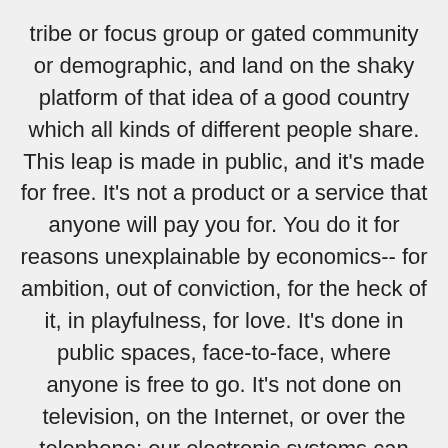tribe or focus group or gated community or demographic, and land on the shaky platform of that idea of a good country which all kinds of different people share. This leap is made in public, and it's made for free. It's not a product or a service that anyone will pay you for. You do it for reasons unexplainable by economics-- for ambition, out of conviction, for the heck of it, in playfulness, for love. It's done in public spaces, face-to-face, where anyone is free to go. It's not done on television, on the Internet, or over the telephone; our electronic systems can only tell us if the leap made elsewhere has succeeded or failed. The places you'll see it are high school gyms, city sidewalks, the subway, bus stations, public parks, parking lots, and wherever people gather during natural disasters. In those places and others like them, the leaps that continue to invent